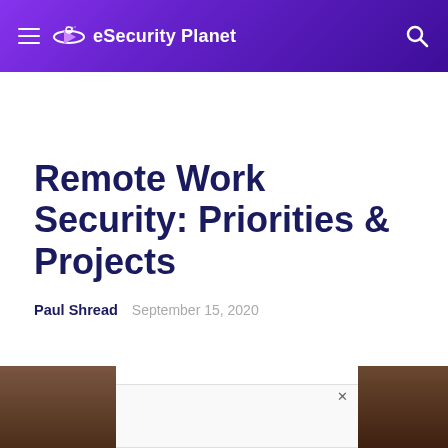eSecurity Planet
Remote Work Security: Priorities & Projects
Paul Shread   September 15, 2020
[Figure (photo): Partial view of a person working at a desk, visible at the bottom of the page with a brown desk surface]